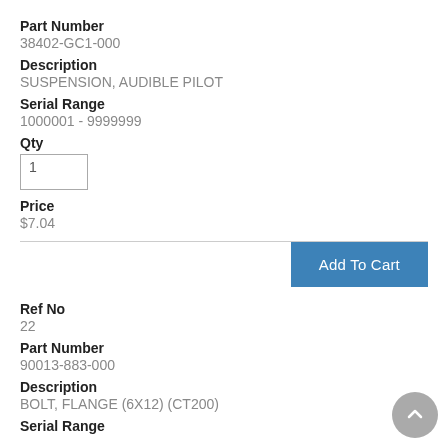Part Number
38402-GC1-000
Description
SUSPENSION, AUDIBLE PILOT
Serial Range
1000001 - 9999999
Qty
1
Price
$7.04
Add To Cart
Ref No
22
Part Number
90013-883-000
Description
BOLT, FLANGE (6X12) (CT200)
Serial Range